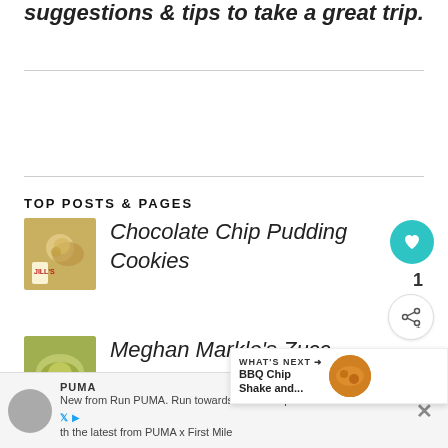suggestions & tips to take a great trip.
TOP POSTS & PAGES
Chocolate Chip Pudding Cookies
Meghan Markle's Zucchini Sauce
[Figure (infographic): What's Next overlay: BBQ Chip Shake and... with food thumbnail]
PUMA
New from Run PUMA. Run towards a cleaner planet with the latest from PUMA x First Mile